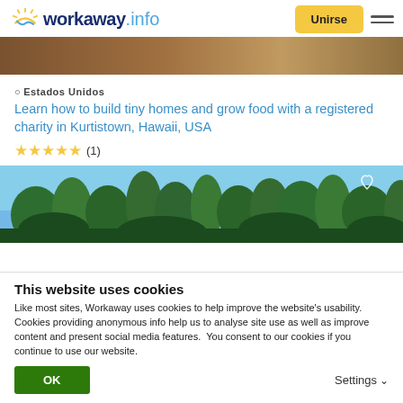workaway.info — Unirse
[Figure (photo): Partial top image showing person/landscape, cropped]
📍 Estados Unidos
Learn how to build tiny homes and grow food with a registered charity in Kurtistown, Hawaii, USA
★★★★★ (1)
[Figure (photo): Outdoor photo of trees with blue sky background, heart/favorite icon in top right corner]
This website uses cookies
Like most sites, Workaway uses cookies to help improve the website's usability. Cookies providing anonymous info help us to analyse site use as well as improve content and present social media features.  You consent to our cookies if you continue to use our website.
OK
Settings